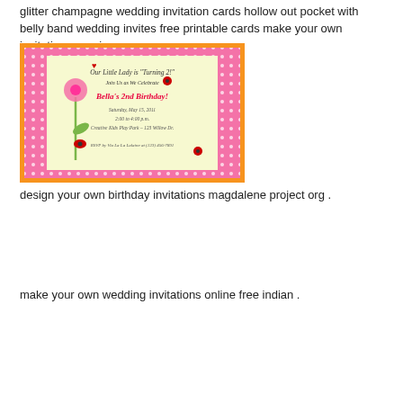glitter champagne wedding invitation cards hollow out pocket with belly band wedding invites free printable cards make your own invitations marriage
[Figure (photo): A birthday party invitation card with pink polka dot border and orange outer border. Text reads: Our Little Lady is Turning 2! Join Us as We Celebrate. Bella's 2nd Birthday! Saturday, May 15, 2011. 2:00 to 4:00 p.m. Creative Kids Play Park - 123 Willow Dr. RSVP by Via La La Lalaine at (123) 456-7891. Features ladybug and flower illustrations on a yellow-green background.]
design your own birthday invitations magdalene project org .
make your own wedding invitations online free indian .